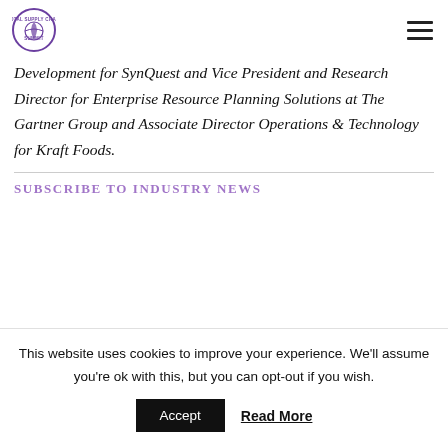Total Supply Chain Summit logo and navigation menu
Development for SynQuest and Vice President and Research Director for Enterprise Resource Planning Solutions at The Gartner Group and Associate Director Operations & Technology for Kraft Foods.
SUBSCRIBE TO INDUSTRY NEWS
This website uses cookies to improve your experience. We'll assume you're ok with this, but you can opt-out if you wish. Accept Read More